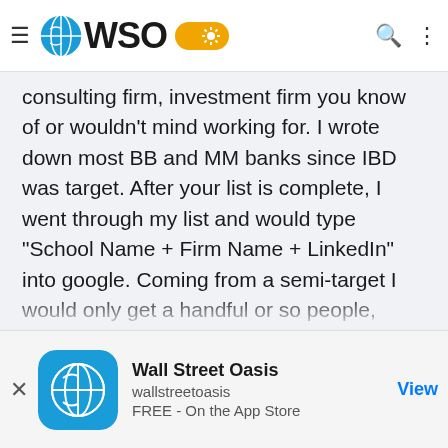WSO (Wall Street Oasis) navigation bar with hamburger menu, logo, toggle, search and more icons
consulting firm, investment firm you know of or wouldn't mind working for. I wrote down most BB and MM banks since IBD was target. After your list is complete, I went through my list and would type "School Name + Firm Name + LinkedIn" into google. Coming from a semi-target I would only get a handful or so people, which was manageable. I would then change my college to my high school in the search (or hometown, etc). I would open each person's page and figure out if they were relevant to my job search and if we had any "small world" type connections to talk about if we ever spoke. I kept track of everyone and eventually had a list of 200
Wall Street Oasis | wallstreetoasis | FREE - On the App Store | View